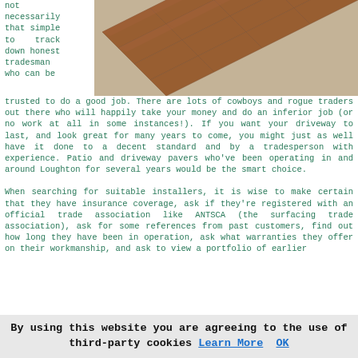not necessarily that simple to track down honest tradesman who can be trusted to do a good job.
[Figure (photo): Photo of brick/paver pathway with reddish-brown rectangular pavers arranged diagonally on a gravel/sand surface]
trusted to do a good job. There are lots of cowboys and rogue traders out there who will happily take your money and do an inferior job (or no work at all in some instances!). If you want your driveway to last, and look great for many years to come, you might just as well have it done to a decent standard and by a tradesperson with experience. Patio and driveway pavers who've been operating in and around Loughton for several years would be the smart choice.

When searching for suitable installers, it is wise to make certain that they have insurance coverage, ask if they're registered with an official trade association like ANTSCA (the surfacing trade association), ask for some references from past customers, find out how long they have been in operation, ask what warranties they offer on their workmanship, and ask to view a portfolio of earlier
By using this website you are agreeing to the use of third-party cookies Learn More  OK